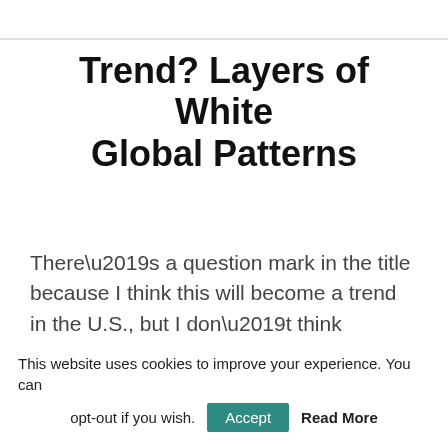Trend? Layers of White Global Patterns
There’s a question mark in the title because I think this will become a trend in the U.S., but I don’t think it’s a trend yet. It’s a trend when it rampages across the country into living rooms, bedrooms and dining rooms everywhere. I think right now it is stepping onto the shores, testing the waters, seeing if it will be accepted.
This website uses cookies to improve your experience. You can opt-out if you wish. Accept Read More